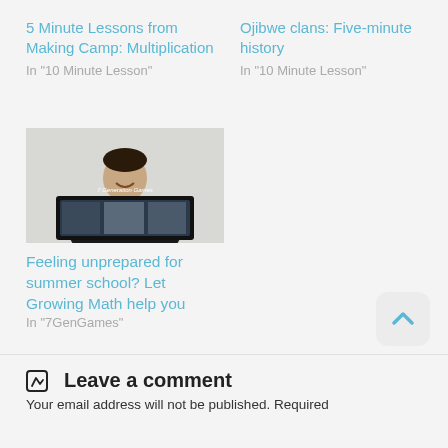5 Minute Lessons from Making Camp: Multiplication
In "10 Minute Lesson"
Ojibwe clans: Five-minute history
In "10 Minute Lesson"
[Figure (photo): A smiling young man holding a framed '7 Generation Games' promotional display with photos]
Feeling unprepared for summer school? Let Growing Math help you
In "7GenGames"
Leave a comment
Your email address will not be published. Required